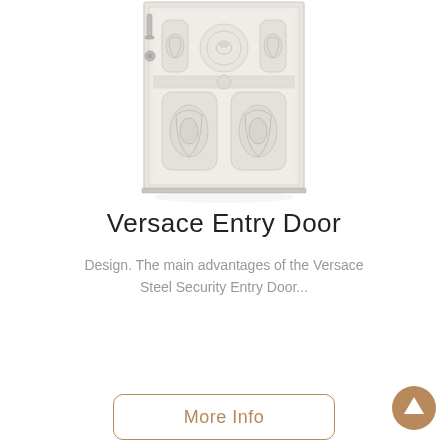[Figure (illustration): White ornate Versace steel security entry door with decorative embossed panels, circular medallion at top center, handle and lock on left side, shown against white background with subtle shadow/reflection at base.]
Versace Entry Door
Design. The main advantages of the Versace Steel Security Entry Door...
[Figure (illustration): Gold/tan circular scroll-up arrow button in bottom right corner.]